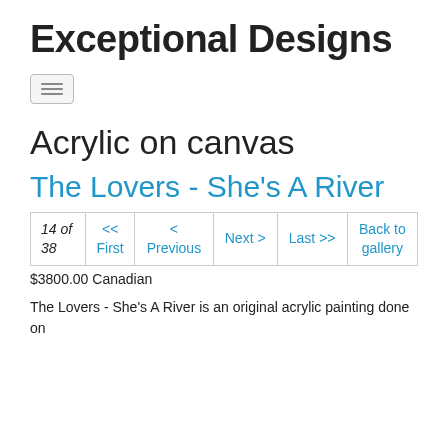Exceptional Designs
[Figure (other): Hamburger menu button icon with three horizontal lines]
Acrylic on canvas
The Lovers - She's A River
|  | <<
First | <
Previous | Next > | Last >> | Back to
gallery |
| --- | --- | --- | --- | --- | --- |
| 14 of
38 | << First | < Previous | Next > | Last >> | Back to gallery |
$3800.00 Canadian
The Lovers - She's A River is an original acrylic painting done on